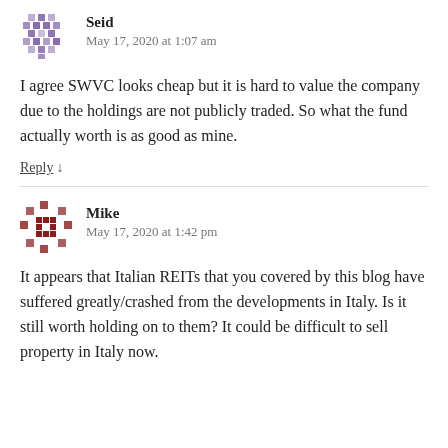[Figure (illustration): Purple pixel/mosaic avatar for user Seid]
Seid
May 17, 2020 at 1:07 am
I agree SWVC looks cheap but it is hard to value the company due to the holdings are not publicly traded. So what the fund actually worth is as good as mine.
Reply ↓
[Figure (illustration): Dark red/maroon pixel/mosaic avatar for user Mike]
Mike
May 17, 2020 at 1:42 pm
It appears that Italian REITs that you covered by this blog have suffered greatly/crashed from the developments in Italy. Is it still worth holding on to them? It could be difficult to sell property in Italy now.